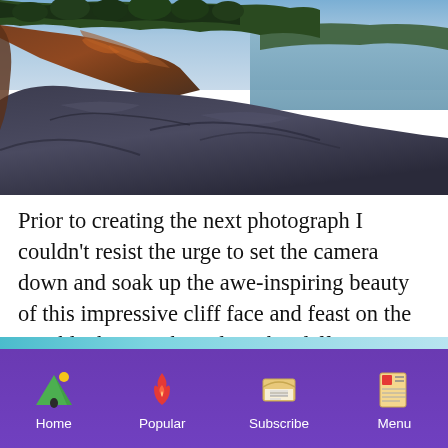[Figure (photo): Scenic photograph of rocky cliff face with trees on top and a body of water visible in the background, taken at dusk or dawn with warm orange light on the rocks]
Prior to creating the next photograph I couldn't resist the urge to set the camera down and soak up the awe-inspiring beauty of this impressive cliff face and feast on the ripe blueberries that adorn the clifftop.
[Figure (screenshot): Mobile app navigation bar with four items: Home, Popular, Subscribe, Menu, on a purple background]